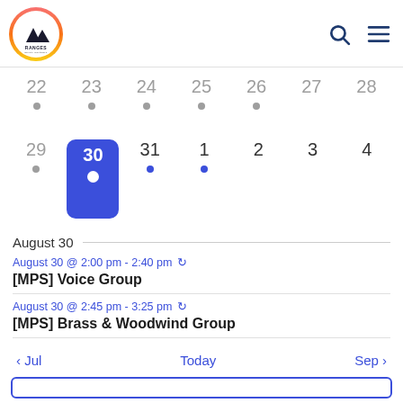[Figure (logo): Ranges Music Partners logo - mountains silhouette inside orange/red gradient circle]
[Figure (infographic): Calendar view showing two rows of dates: 22-28 with grey dots, and 29-4 where 30 is selected (blue box), 31 and 1 have blue dots]
August 30
August 30 @ 2:00 pm - 2:40 pm (recurring)
[MPS] Voice Group
August 30 @ 2:45 pm - 3:25 pm (recurring)
[MPS] Brass & Woodwind Group
< Jul   Today   Sep >